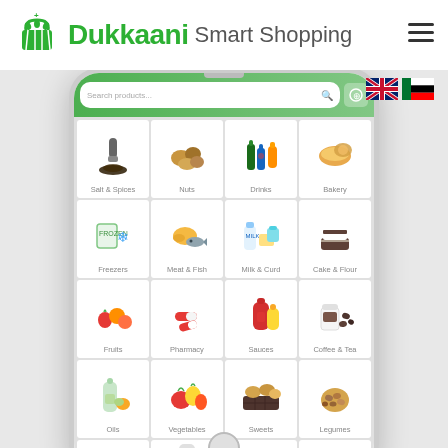[Figure (screenshot): Dukkaani Smart Shopping app website screenshot showing logo, navigation, language flags (UK and UAE), and a smartphone mockup displaying a grocery shopping app with a 4-column category grid: Salt & Spices, Nuts, Drinks, Bakery, Freezers, Meat & Fish, Milk & Curd, Cake & Flour, Fruits, Pharmacy, Sauces, Coffee & Tea, Oils, Vegetables, Sweets, Legumes, and partially visible bottom row categories.]